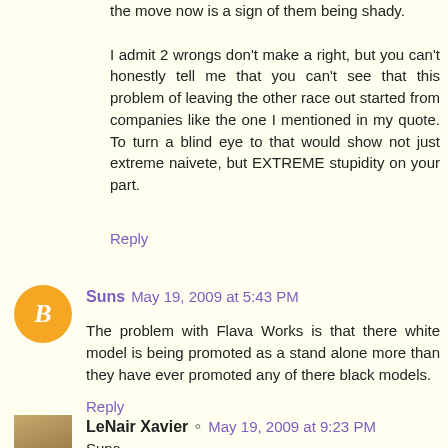the move now is a sign of them being shady.

I admit 2 wrongs don't make a right, but you can't honestly tell me that you can't see that this problem of leaving the other race out started from companies like the one I mentioned in my quote. To turn a blind eye to that would show not just extreme naivete, but EXTREME stupidity on your part.
Reply
Suns  May 19, 2009 at 5:43 PM
The problem with Flava Works is that there white model is being promoted as a stand alone more than they have ever promoted any of there black models.
Reply
LeNair Xavier  May 19, 2009 at 9:23 PM
Suns,